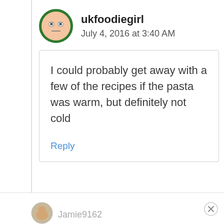[Figure (illustration): User avatar icon with cartoon face, green circular border]
ukfoodiegirl
July 4, 2016 at 3:40 AM
I could probably get away with a few of the recipes if the pasta was warm, but definitely not cold
Reply
[Figure (illustration): Partial user avatar for Jamie9162]
Jamie9162